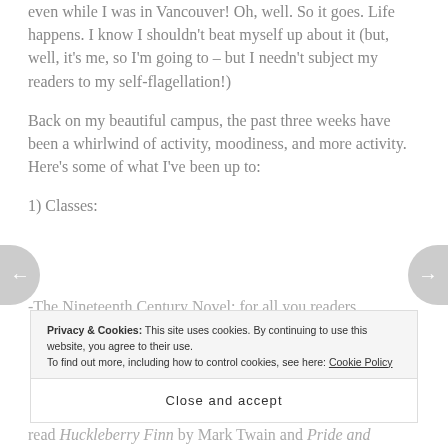even while I was in Vancouver! Oh, well. So it goes. Life happens. I know I shouldn't beat myself up about it (but, well, it's me, so I'm going to – but I needn't subject my readers to my self-flagellation!)
Back on my beautiful campus, the past three weeks have been a whirlwind of activity, moodiness, and more activity.  Here's some of what I've been up to:
1) Classes:
-The Nineteenth Century Novel: for all you readers
Privacy & Cookies: This site uses cookies. By continuing to use this website, you agree to their use. To find out more, including how to control cookies, see here: Cookie Policy
Close and accept
read Huckleberry Finn by Mark Twain and Pride and